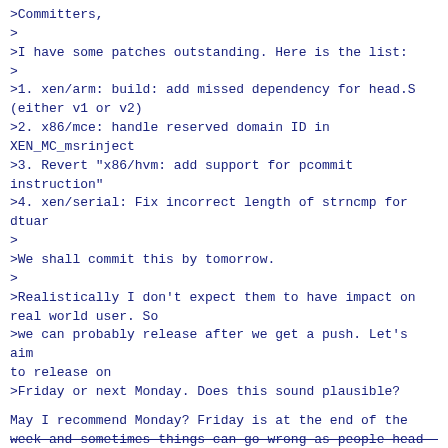>Committers,
>
>I have some patches outstanding. Here is the list:
>
>1. xen/arm: build: add missed dependency for head.S
(either v1 or v2)
>2. x86/mce: handle reserved domain ID in
XEN_MC_msrinject
>3. Revert "x86/hvm: add support for pcommit
instruction"
>4. xen/serial: Fix incorrect length of strncmp for
dtuar
>
>We shall commit this by tomorrow.
>
>Realistically I don't expect them to have impact on
real world user. So
>we can probably release after we get a push. Let's aim
to release on
>Friday or next Monday. Does this sound plausible?
May I recommend Monday? Friday is at the end of the
week and sometimes things can go wrong as people head
out for the weekend.
Thanks!
>
>Wei.
>
>